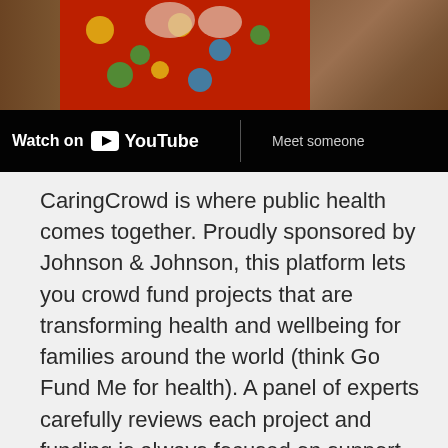[Figure (screenshot): YouTube video thumbnail showing people in colorful red clown costumes, with a 'Watch on YouTube' bar at the bottom and text reading 'Meet someone']
CaringCrowd is where public health comes together. Proudly sponsored by Johnson & Johnson, this platform lets you crowd fund projects that are transforming health and wellbeing for families around the world (think Go Fund Me for health). A panel of experts carefully reviews each project and funding is always focused on support of specific projects, so you know where your pledge is going. CaringCrowd is also fee-free, so all pledges go directly to the project fund of your choice. The projects on CaringCrowd are inspiring! You can provide dignity to those suffering with mental illness, give health and hope for women